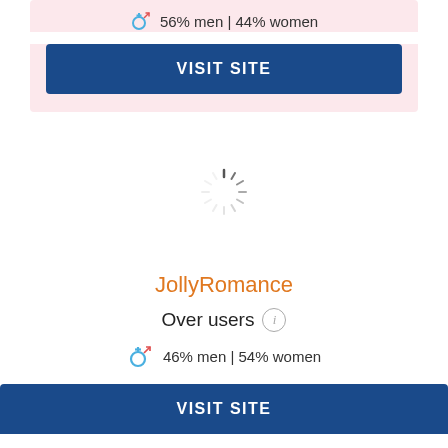56% men | 44% women
VISIT SITE
[Figure (other): Loading spinner (circular dashed animation indicator)]
JollyRomance
Over users (i)
46% men | 54% women
VISIT SITE